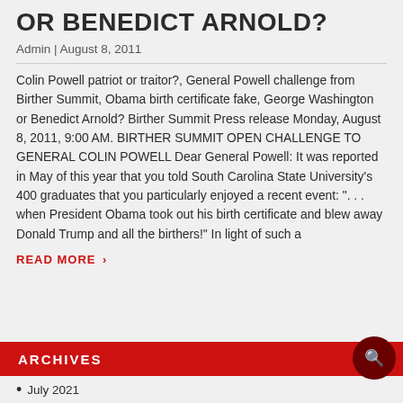OR BENEDICT ARNOLD?
Admin | August 8, 2011
Colin Powell patriot or traitor?, General Powell challenge from Birther Summit, Obama birth certificate fake, George Washington or Benedict Arnold? Birther Summit Press release Monday, August 8, 2011, 9:00 AM. BIRTHER SUMMIT OPEN CHALLENGE TO GENERAL COLIN POWELL Dear General Powell: It was reported in May of this year that you told South Carolina State University's 400 graduates that you particularly enjoyed a recent event: ". . . when President Obama took out his birth certificate and blew away Donald Trump and all the birthers!" In light of such a
READ MORE ›
ARCHIVES
July 2021